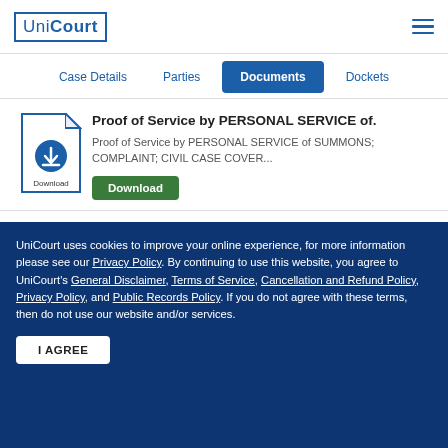UniCourt
Case Details | Parties | Documents | Dockets
Proof of Service by PERSONAL SERVICE of.
Proof of Service by PERSONAL SERVICE of SUMMONS; COMPLAINT; CIVIL CASE COVER...
Download
[Figure (illustration): Partial document file icon for second document]
UniCourt uses cookies to improve your online experience, for more information please see our Privacy Policy. By continuing to use this website, you agree to UniCourt's General Disclaimer, Terms of Service, Cancellation and Refund Policy, Privacy Policy, and Public Records Policy. If you do not agree with these terms, then do not use our website and/or services.
I AGREE